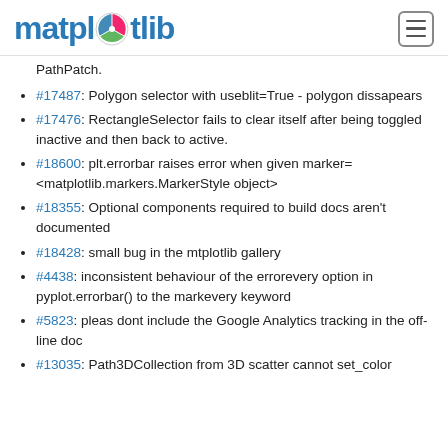matplotlib
PathPatch.
#17487: Polygon selector with useblit=True - polygon dissapears
#17476: RectangleSelector fails to clear itself after being toggled inactive and then back to active.
#18600: plt.errorbar raises error when given marker=<matplotlib.markers.MarkerStyle object>
#18355: Optional components required to build docs aren't documented
#18428: small bug in the mtplotlib gallery
#4438: inconsistent behaviour of the errorevery option in pyplot.errorbar() to the markevery keyword
#5823: pleas dont include the Google Analytics tracking in the off-line doc
#13035: Path3DCollection from 3D scatter cannot set_color